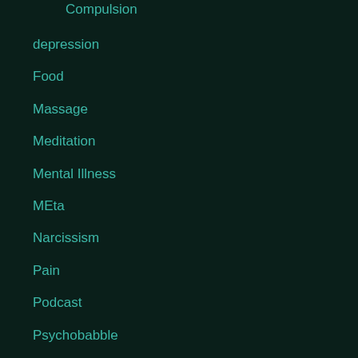Compulsion
depression
Food
Massage
Meditation
Mental Illness
MEta
Narcissism
Pain
Podcast
Psychobabble
Uncategorized
Videos